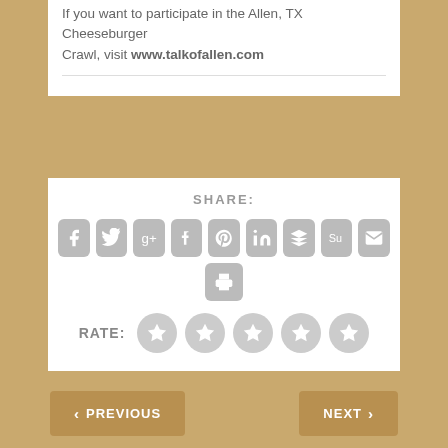If you want to participate in the Allen, TX Cheeseburger Crawl, visit www.talkofallen.com
SHARE:
[Figure (infographic): Row of 9 social media share buttons (Facebook, Twitter, Google+, Tumblr, Pinterest, LinkedIn, Buffer, StumbleUpon, Email) and one print button below, all as grey rounded-square icons with white symbols]
RATE:
[Figure (infographic): Five grey circular star rating buttons]
< PREVIOUS
NEXT >